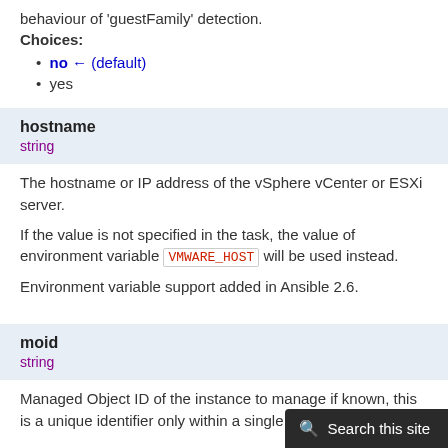behaviour of 'guestFamily' detection.
Choices:
no ← (default)
yes
hostname
string
The hostname or IP address of the vSphere vCenter or ESXi server.
If the value is not specified in the task, the value of environment variable VMWARE_HOST will be used instead.
Environment variable support added in Ansible 2.6.
moid
string
Managed Object ID of the instance to manage if known, this is a unique identifier only within a single vCenter instance.